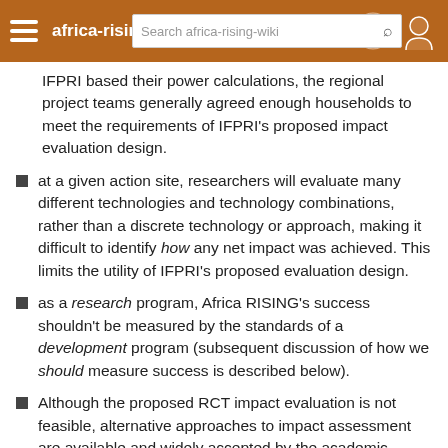africa-rising-wiki
IFPRI based their power calculations, the regional project teams generally agreed [Search africa-rising-wiki] enough households to meet the requirements of IFPRI's proposed impact evaluation design.
at a given action site, researchers will evaluate many different technologies and technology combinations, rather than a discrete technology or approach, making it difficult to identify how any net impact was achieved. This limits the utility of IFPRI’s proposed evaluation design.
as a research program, Africa RISING’s success shouldn’t be measured by the standards of a development program (subsequent discussion of how we should measure success is described below).
Although the proposed RCT impact evaluation is not feasible, alternative approaches to impact assessment are available and widely accepted by the academic community. IFPRI’s impact assessment should make use of these tools, particularly panel data. (Sieg will circulate examples/references.)